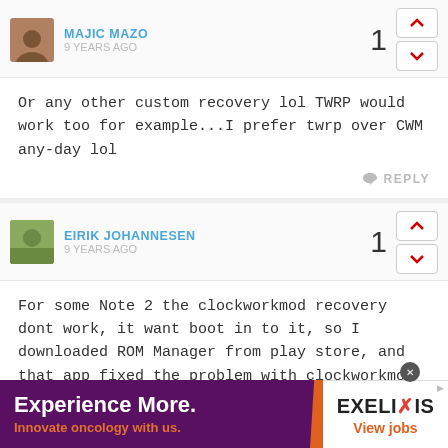MAJIC MAZO
9 YEARS AGO
Or any other custom recovery lol TWRP would work too for example...I prefer twrp over CWM any-day lol
REPLY
EIRIK JOHANNESEN
9 YEARS AGO
For some Note 2 the clockworkmod recovery dont work, it want boot in to it, so I downloaded ROM Manager from play store, and that app fixed the problem with clockworkmod recovery. Use the Rom Manger to install the zip, thats work perfect, and Photo Sphere now save on SD card and sync fine with Dropbox.
REPLY
[Figure (screenshot): Advertisement banner: Experience More. Innovate oncology with us. EXELIXIS View jobs]